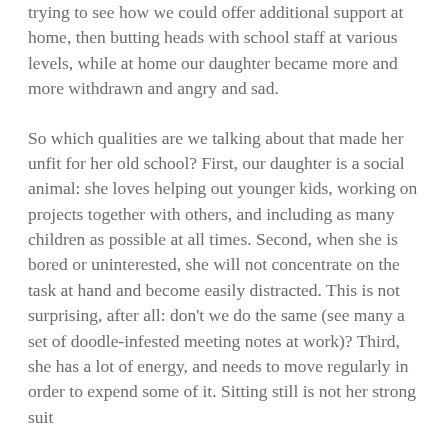trying to see how we could offer additional support at home, then butting heads with school staff at various levels, while at home our daughter became more and more withdrawn and angry and sad.
So which qualities are we talking about that made her unfit for her old school? First, our daughter is a social animal: she loves helping out younger kids, working on projects together with others, and including as many children as possible at all times. Second, when she is bored or uninterested, she will not concentrate on the task at hand and become easily distracted. This is not surprising, after all: don't we do the same (see many a set of doodle-infested meeting notes at work)? Third, she has a lot of energy, and needs to move regularly in order to expend some of it. Sitting still is not her strong suit